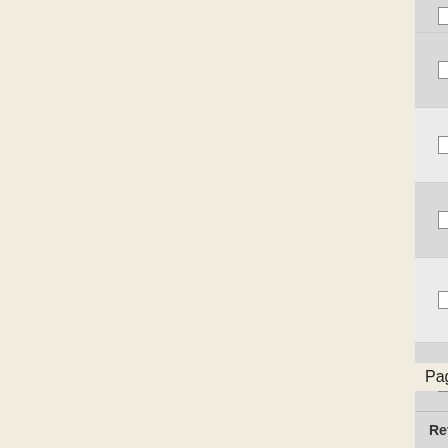|  | NC Accession | Gene ID | Description |
| --- | --- | --- | --- |
|  | NC_014212 | Mesil_1688 | hypothetical... |
|  | NC_012918 | GM21_3561 | Fibronectin domain pr... |
|  | NC_008228 | Patl_2658 | hypothetical... |
|  | NC_009972 | Haur_2466 | fibronectin domain-co... protein |
|  | NC_009483 | Gura_0500 | cytochrom... protein |
|  | NC_011083 | SeHA_C2905 | large repet... |
|  | NC_011205 | SeD_A3017 | VCBS repe... protein |
Page 1 of 3  << first  < prev  1  2  3  n
Refresh table to